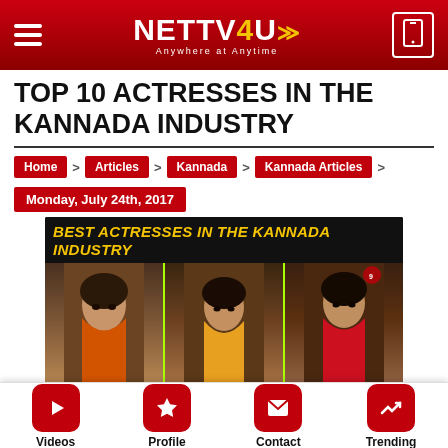NETTV4U — Anywhere at Anytime
TOP 10 ACTRESSES IN THE KANNADA INDUSTRY
Home > Articles > Kannada > Kannada Articles >
Monday, July 24th, 2017
[Figure (photo): Banner image showing 'Best Actresses in the Kannada Industry' with photos of multiple Kannada actresses]
Videos | Profile | Contact | Trending